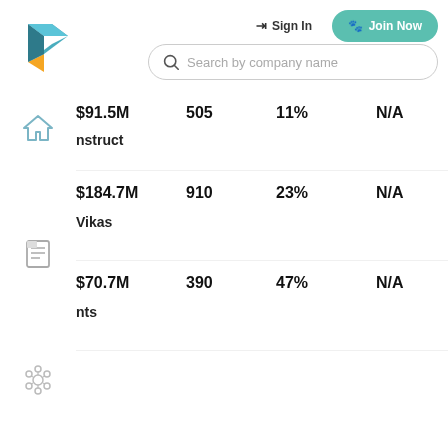[Figure (logo): Stylized 3D box logo with teal and orange colors]
Sign In
Join Now
Search by company name
| Company | Revenue | Employees | Growth | Rating |
| --- | --- | --- | --- | --- |
| ...nstruct | $91.5M | 505 | 11% | N/A |
| Vikas | $184.7M | 910 | 23% | N/A |
| ...nts | $70.7M | 390 | 47% | N/A |